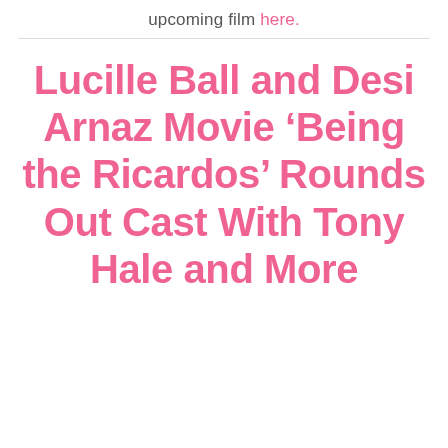upcoming film here.
Lucille Ball and Desi Arnaz Movie ‘Being the Ricardos’ Rounds Out Cast With Tony Hale and More